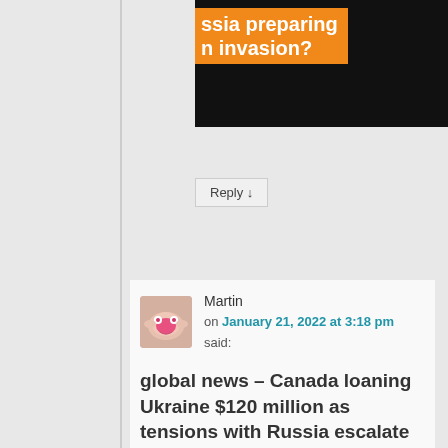[Figure (screenshot): Partial news thumbnail with dark background and orange banner showing partial text 'ssia preparing n invasion?']
Reply ↓
Martin
on January 21, 2022 at 3:18 pm said:
global news – Canada loaning Ukraine $120 million as tensions with Russia escalate